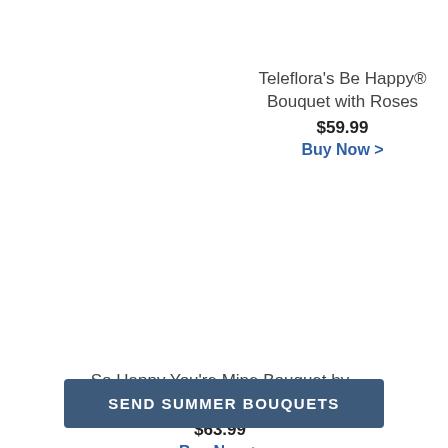Teleflora's Be Happy® Bouquet with Roses
$59.99
Buy Now >
So Happy You're Mine Bouquet by Teleflora
$63.99
Buy Now >
SEND SUMMER BOUQUETS